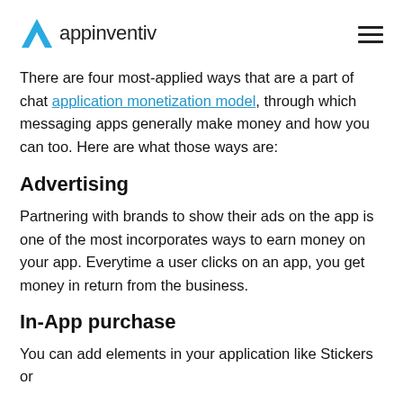appinventiv
There are four most-applied ways that are a part of chat application monetization model, through which messaging apps generally make money and how you can too. Here are what those ways are:
Advertising
Partnering with brands to show their ads on the app is one of the most incorporates ways to earn money on your app. Everytime a user clicks on an app, you get money in return from the business.
In-App purchase
You can add elements in your application like Stickers or